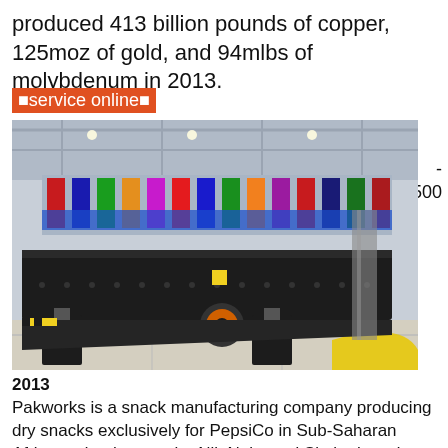produced 413 billion pounds of copper, 125moz of gold, and 94mlbs of molybdenum in 2013.
⬛service online⬛
[Figure (photo): Industrial mining/processing machine (vibrating feeder or conveyor) displayed in a large exhibition hall with colorful flags in the background and yellow safety marking.]
- 500
2013
Pakworks is a snack manufacturing company producing dry snacks exclusively for PepsiCo in Sub-Saharan Africa under the popular Nik Naks and Simba brand nam Quality lies at the core of every product we produce Click to find out moretop 500 companies in africa 2013 Each